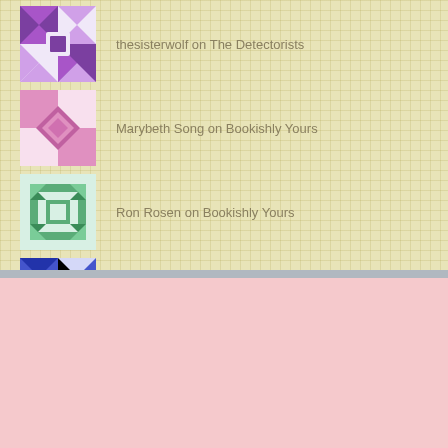thesisterwolf on The Detectorists
Marybeth Song on Bookishly Yours
Ron Rosen on Bookishly Yours
Ann Erdman on Bookishly Yours
[Figure (logo): Blog With Integrity badge — blue rectangle with text BLOG WITH INTEGRITY in white and light blue letters]